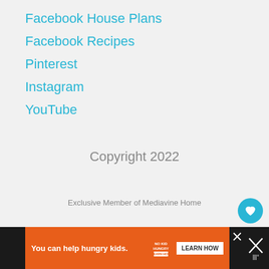Facebook House Plans
Facebook Recipes
Pinterest
Instagram
YouTube
Copyright 2022
Exclusive Member of Mediavine Home
You can help hungry kids.  NO KID HUNGRY  LEARN HOW